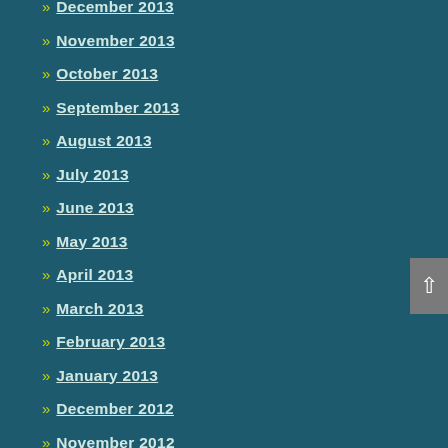» December 2013
» November 2013
» October 2013
» September 2013
» August 2013
» July 2013
» June 2013
» May 2013
» April 2013
» March 2013
» February 2013
» January 2013
» December 2012
» November 2012
» October 2012